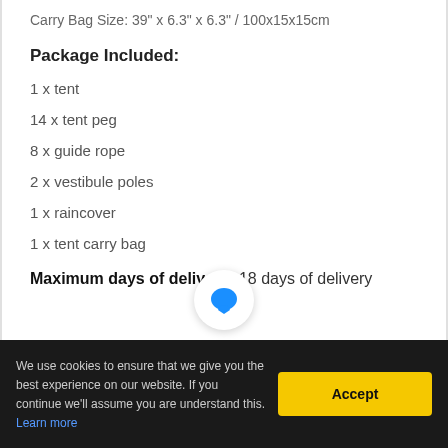Carry Bag Size: 39" x 6.3" x 6.3" / 100x15x15cm
Package Included:
1 x tent
14 x tent peg
8 x guide rope
2 x vestibule poles
1 x raincover
1 x tent carry bag
Maximum days of delivery: 18 days of delivery
We use cookies to ensure that we give you the best experience on our website. If you continue we'll assume you are understand this. Learn more